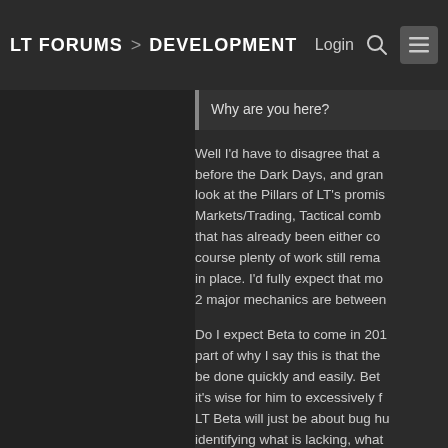LT FORUMS > DEVELOPMENT   Login 🔍 ☰
Why are you here?
Well I'd have to disagree that a before the Dark Days, and gran look at the Pillars of LT's promis Markets/Trading, Tactical comb that has already been either co course plenty of work still rema in place. I'd fully expect that mo 2 major mechanics are between
Do I expect Beta to come in 201 part of why I say this is that the be done quickly and easily. Bet it's wise for him to excessively f LT Beta will just be about bug hu identifying what is lacking, what very fun. Beta can after all hav